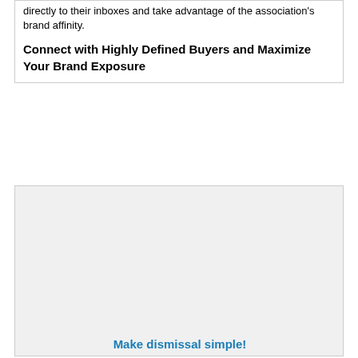directly to their inboxes and take advantage of the association's brand affinity.
Connect with Highly Defined Buyers and Maximize Your Brand Exposure
[Figure (other): Large light gray placeholder box, likely an advertisement or image area]
Make dismissal simple!